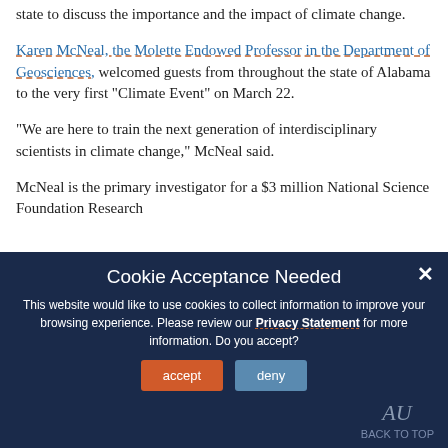state to discuss the importance and the impact of climate change.
Karen McNeal, the Molette Endowed Professor in the Department of Geosciences, welcomed guests from throughout the state of Alabama to the very first “Climate Event” on March 22.
“We are here to train the next generation of interdisciplinary scientists in climate change,” McNeal said.
McNeal is the primary investigator for a $3 million National Science Foundation Research
Cookie Acceptance Needed

This website would like to use cookies to collect information to improve your browsing experience. Please review our Privacy Statement for more information. Do you accept?

[accept] [deny]